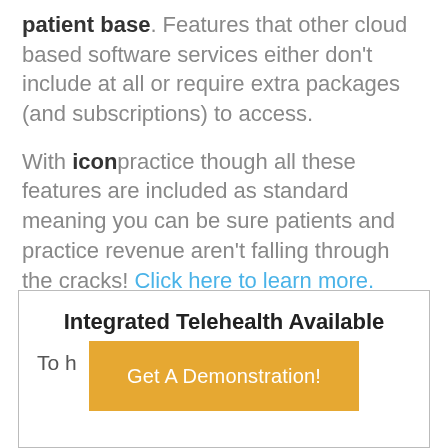patient base. Features that other cloud based software services either don't include at all or require extra packages (and subscriptions) to access.
With iconpractice though all these features are included as standard meaning you can be sure patients and practice revenue aren't falling through the cracks! Click here to learn more.
Integrated Telehealth Available
To h... asily